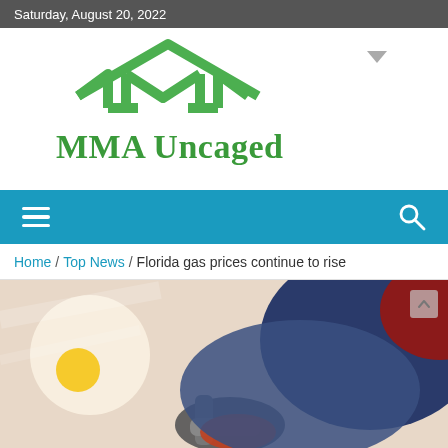Saturday, August 20, 2022
[Figure (logo): MMA Uncaged logo with green house/M icon and green serif text 'MMA Uncaged']
[Figure (infographic): Teal navigation bar with hamburger menu icon on left and search icon on right]
Home / Top News / Florida gas prices continue to rise
[Figure (photo): Close-up photo of a gas pump nozzle inserted into a blue car, with blurred background showing a yellow circle and light tones]